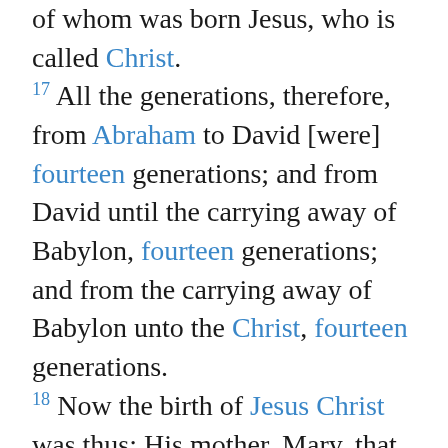of whom was born Jesus, who is called Christ. 17 All the generations, therefore, from Abraham to David [were] fourteen generations; and from David until the carrying away of Babylon, fourteen generations; and from the carrying away of Babylon unto the Christ, fourteen generations. 18 Now the birth of Jesus Christ was thus: His mother, Mary, that is, having been betrothed to Joseph, before they came together, she was found to be with child of [the] Holy Spirit. 19 But Joseph, her husband, being [a] righteous [man], and unwilling to expose her publicly, purposed to have put her away secretly; 20 but while he pondered on these things, behold, an angel of [the] Lord appeared to him in a